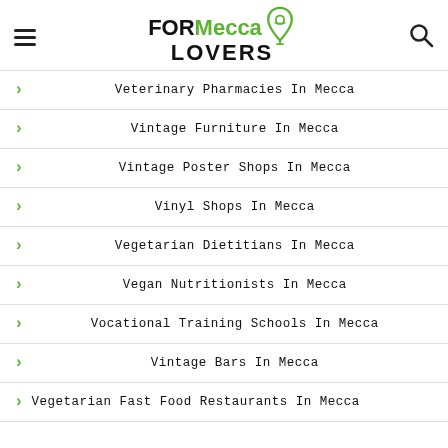FOR Mecca LOVERS
Veterinary Pharmacies In Mecca
Vintage Furniture In Mecca
Vintage Poster Shops In Mecca
Vinyl Shops In Mecca
Vegetarian Dietitians In Mecca
Vegan Nutritionists In Mecca
Vocational Training Schools In Mecca
Vintage Bars In Mecca
Vegetarian Fast Food Restaurants In Mecca